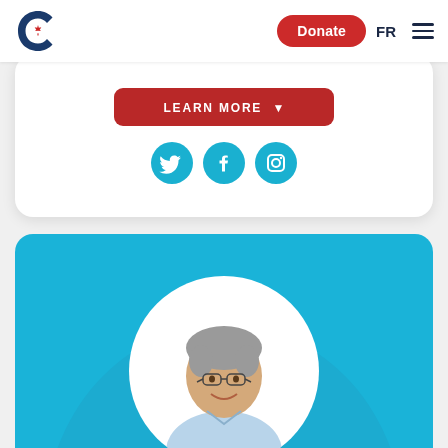[Figure (logo): Conservative Party of Canada logo - blue C with red maple leaf]
Donate
FR
[Figure (illustration): LEARN MORE red button with arrow]
[Figure (illustration): Twitter, Facebook, and Instagram social media icons in blue circles]
[Figure (photo): Portrait photo of smiling middle-aged man with glasses and grey hair wearing a light blue shirt, displayed in circular frame on a light blue card]